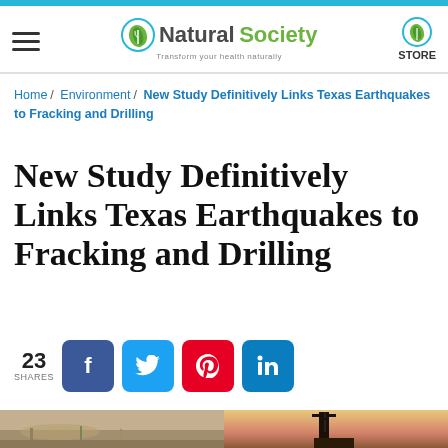Natural Society — Transform your health naturally
Home / Environment / New Study Definitively Links Texas Earthquakes to Fracking and Drilling
New Study Definitively Links Texas Earthquakes to Fracking and Drilling
23 SHARES
[Figure (photo): Two photos side by side: left shows a cracked rocky ground with dry grass; right shows an oil drilling rig silhouetted against a sunset sky.]